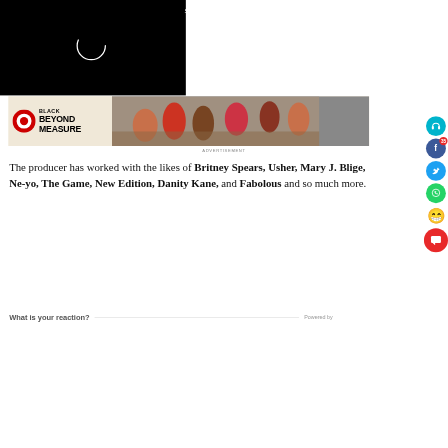SourceArchiveNickCannon
[Figure (screenshot): Loading spinner (partial circle) on black background]
[Figure (screenshot): Advertisement banner: Target logo with 'Black Beyond Measure' text and photo of people dining]
ADVERTISEMENT
The producer has worked with the likes of Britney Spears, Usher, Mary J. Blige, Ne-yo, The Game, New Edition, Danity Kane, and Fabolous and so much more.
What is your reaction?  Powered by